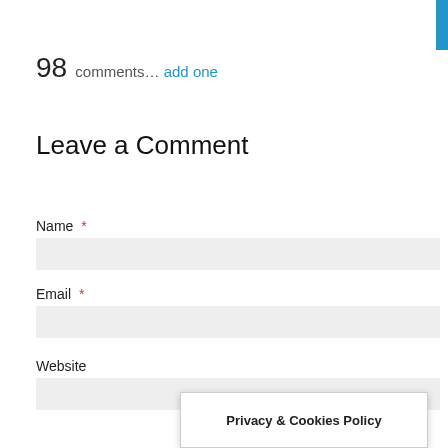98 comments… add one
Leave a Comment
Name *
Email *
Website
Privacy & Cookies Policy